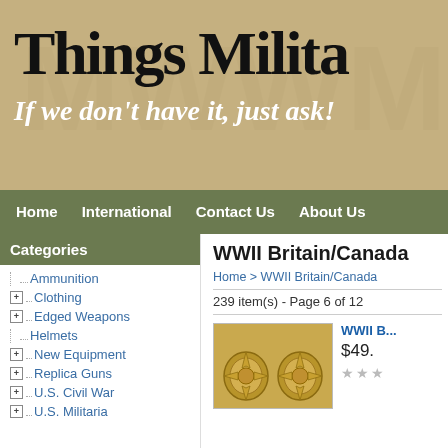[Figure (screenshot): Website banner with tan/khaki background showing 'Things Milita...' in large bold serif font and italic subtitle 'If we don't have it, just ask!']
Home  International  Contact Us  About Us
Categories
Ammunition
Clothing
Edged Weapons
Helmets
New Equipment
Replica Guns
U.S. Civil War
U.S. Militaria
WWII Britain/Canada
Home > WWII Britain/Canada
239 item(s) - Page 6 of 12
WWII B...
$49.
[Figure (photo): Photo of WWII Britain/Canada military badges - two gold-coloured ornate cap badges]